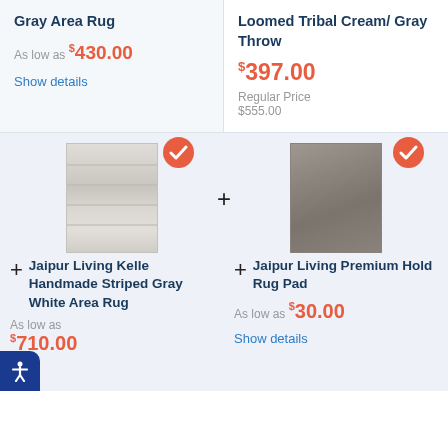Gray Area Rug
As low as $430.00
Show details
Loomed Tribal Cream/ Gray Throw
$397.00
Regular Price $555.00
[Figure (photo): Light gray/cream striped area rug with checkmark badge overlay]
[Figure (photo): Gray/taupe solid area rug with checkmark badge overlay]
Jaipur Living Kelle Handmade Striped Gray White Area Rug
As low as $710.00
Jaipur Living Premium Hold Rug Pad
As low as $30.00
Show details